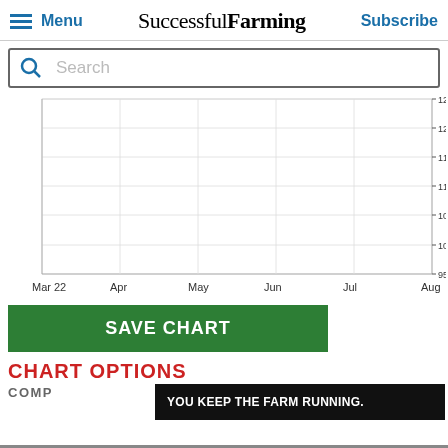Menu | Successful Farming | Subscribe
[Figure (other): Search bar with magnifying glass icon and placeholder text 'Search']
[Figure (continuous-plot): Empty line chart with y-axis values from 95.000 to 125.000 and x-axis labels: Mar 22, Apr, May, Jun, Jul, Aug]
[Figure (other): Green 'SAVE CHART' button]
CHART OPTIONS
YOU KEEP THE FARM RUNNING.
COMP